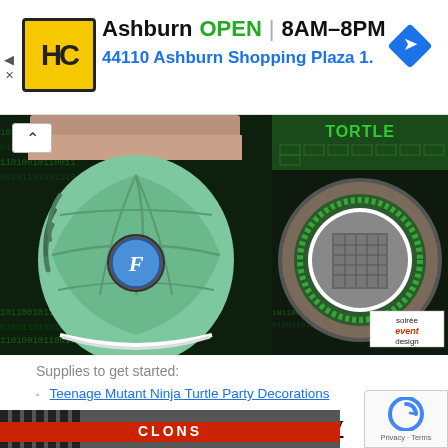[Figure (infographic): Advertisement banner for HC (hardware/home improvement store) in Ashburn, showing logo, OPEN status, hours 8AM-8PM, address 44110 Ashburn Shopping Plaza 1., and navigation arrow icon]
[Figure (photo): Two side-by-side photos related to Teenage Mutant Ninja Turtle party theme: left shows a green TMNT shell-shaped bag with letter F medallion, right shows a TMNT-themed cake/decoration with soiree event design watermark]
Supplies to get started:
Teenage Mutant Ninja Turtle Party Decorations
14. Baseball Birthday Party
[Figure (photo): Bottom strip of a baseball birthday party image showing partial text and striped elements]